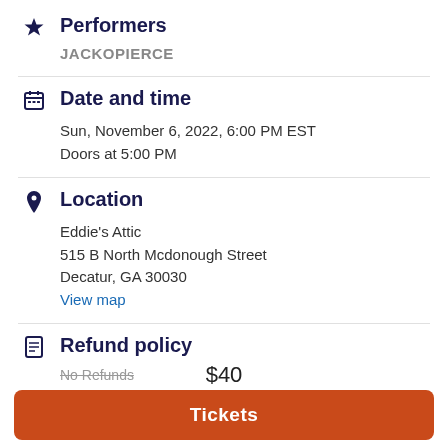Performers
JACKOPIERCE
Date and time
Sun, November 6, 2022, 6:00 PM EST
Doors at 5:00 PM
Location
Eddie's Attic
515 B North Mcdonough Street
Decatur, GA 30030
View map
Refund policy
No Refunds
$40
Tickets